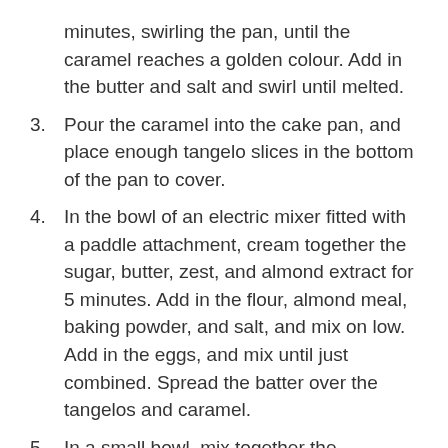minutes, swirling the pan, until the caramel reaches a golden colour. Add in the butter and salt and swirl until melted.
3. Pour the caramel into the cake pan, and place enough tangelo slices in the bottom of the pan to cover.
4. In the bowl of an electric mixer fitted with a paddle attachment, cream together the sugar, butter, zest, and almond extract for 5 minutes. Add in the flour, almond meal, baking powder, and salt, and mix on low. Add in the eggs, and mix until just combined. Spread the batter over the tangelos and caramel.
5. In a small bowl, mix together the cinnamon, sugar, and almonds. Sprinkle over the batter. Cover the cake with a round of baking paper and bake for 45 minutes. Remove the baking paper and bake for an additional 15 minutes.